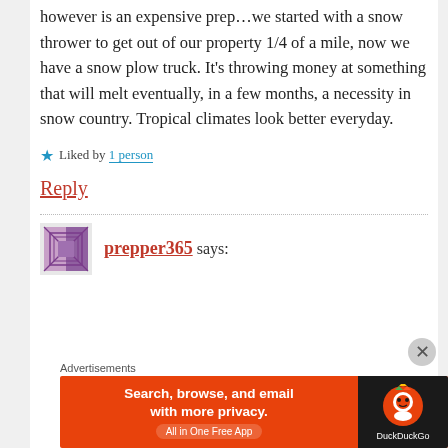however is an expensive prep...we started with a snow thrower to get out of our property 1/4 of a mile, now we have a snow plow truck. It's throwing money at something that will melt eventually, in a few months, a necessity in snow country. Tropical climates look better everyday.
★ Liked by 1 person
Reply
prepper365 says:
[Figure (screenshot): DuckDuckGo advertisement banner: Search, browse, and email with more privacy. All in One Free App.]